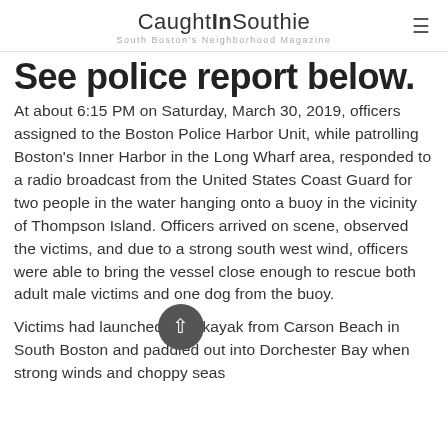CaughtInSouthie — South Boston's Neighborhood Magazine
See police report below.
At about 6:15 PM on Saturday, March 30, 2019, officers assigned to the Boston Police Harbor Unit, while patrolling Boston's Inner Harbor in the Long Wharf area, responded to a radio broadcast from the United States Coast Guard for two people in the water hanging onto a buoy in the vicinity of Thompson Island. Officers arrived on scene, observed the victims, and due to a strong south west wind, officers were able to bring the vessel close enough to rescue both adult male victims and one dog from the buoy.
Victims had launched their kayak from Carson Beach in South Boston and paddled out into Dorchester Bay when strong winds and choppy seas